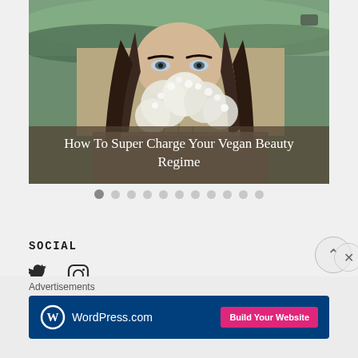[Figure (photo): Hero image of a woman with long dark hair holding white wildflowers (baby's breath) covering the lower half of her face, outdoors in a green field. Overlaid with a semi-transparent banner at the bottom.]
How To Super Charge Your Vegan Beauty Regime
[Figure (infographic): Carousel navigation dots: 11 circles, first one filled dark (active), rest light gray]
SOCIAL
[Figure (infographic): Social media icons: Twitter bird icon and Instagram camera icon]
Advertisements
[Figure (infographic): WordPress.com advertisement banner with blue background, WordPress logo on left and 'Build Your Website' pink button on right]